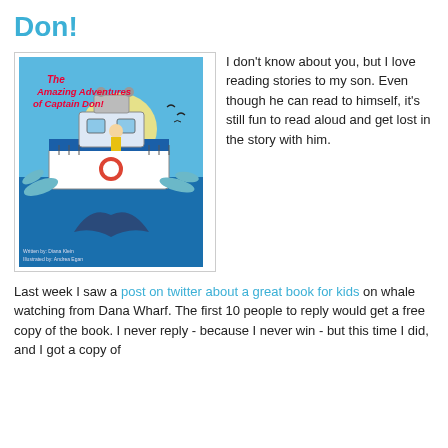Don!
[Figure (photo): Book cover of 'The Amazing Adventures of Captain Don!' showing a cartoon boat with a child captain, dolphins, and a whale tail in the ocean.]
I don't know about you, but I love reading stories to my son. Even though he can read to himself, it's still fun to read aloud and get lost in the story with him.
Last week I saw a post on twitter about a great book for kids on whale watching from Dana Wharf. The first 10 people to reply would get a free copy of the book. I never reply - because I never win - but this time I did, and I got a copy of